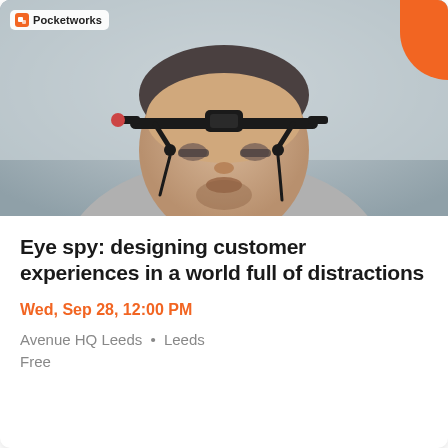[Figure (photo): A man wearing an eye-tracking headset device, looking downward, wearing a grey hoodie. The Pocketworks logo appears in the top-left corner, and an orange curved accent in the top-right corner.]
Eye spy: designing customer experiences in a world full of distractions
Wed, Sep 28, 12:00 PM
Avenue HQ Leeds • Leeds
Free